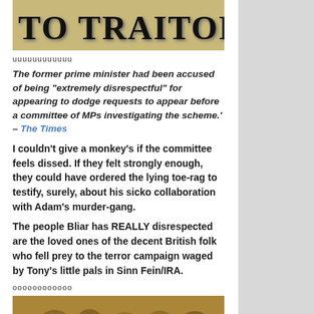[Figure (photo): Old-style poster or printed text reading 'TO TRAITORS.' in large bold distressed font on aged paper background]
uuuuuuuuuuuu
The former prime minister had been accused of being "extremely disrespectful" for appearing to dodge requests to appear before a committee of MPs investigating the scheme.' – The Times
I couldn't give a monkey's if the committee feels dissed. If they felt strongly enough, they could have ordered the lying toe-rag to testify, surely, about his sicko collaboration with Adam's murder-gang.
The people Bliar has REALLY disrespected are the loved ones of the decent British folk who fell prey to the terror campaign waged by Tony's little pals in Sinn Fein/IRA.
oooooooooooo
[Figure (photo): Historical photograph showing what appears to be a crowd or battle scene with multiple figures]